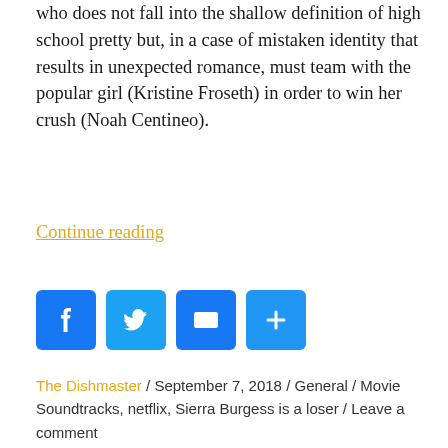who does not fall into the shallow definition of high school pretty but, in a case of mistaken identity that results in unexpected romance, must team with the popular girl (Kristine Froseth) in order to win her crush (Noah Centineo).
Continue reading
[Figure (other): Social sharing buttons: Facebook, Twitter, Email, and a plus/share button]
The Dishmaster / September 7, 2018 / General / Movie Soundtracks, netflix, Sierra Burgess is a loser / Leave a comment